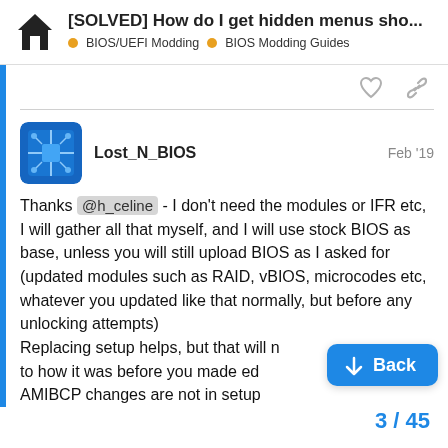[SOLVED] How do I get hidden menus sho... | BIOS/UEFI Modding | BIOS Modding Guides
Thanks @h_celine - I don't need the modules or IFR etc, I will gather all that myself, and I will use stock BIOS as base, unless you will still upload BIOS as I asked for (updated modules such as RAID, vBIOS, microcodes etc, whatever you updated like that normally, but before any unlocking attempts)
Replacing setup helps, but that will no
to how it was before you made edi
AMIBCP changes are not in setup